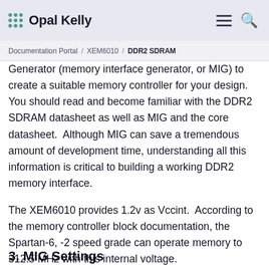Opal Kelly
Documentation Portal / XEM6010 / DDR2 SDRAM
Generator (memory interface generator, or MIG) to create a suitable memory controller for your design. You should read and become familiar with the DDR2 SDRAM datasheet as well as MIG and the core datasheet.  Although MIG can save a tremendous amount of development time, understanding all this information is critical to building a working DDR2 memory interface.
The XEM6010 provides 1.2v as Vccint.  According to the memory controller block documentation, the Spartan-6, -2 speed grade can operate memory to 312.5 MHz with this internal voltage.
3. MIG Settings